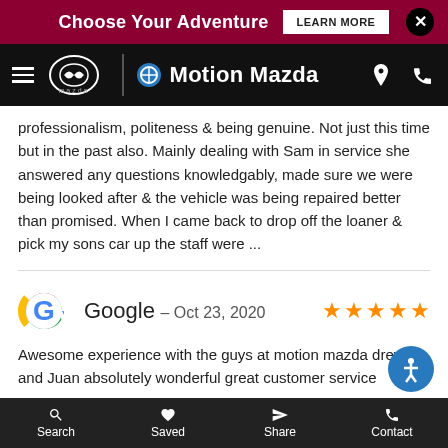Choose Your Adventure  LEARN MORE
[Figure (screenshot): Motion Mazda navigation bar with hamburger menu, Mazda logo, and Motion Mazda brand name]
professionalism, politeness & being genuine. Not just this time but in the past also. Mainly dealing with Sam in service she answered any questions knowledgably, made sure we were being looked after & the vehicle was being repaired better than promised. When I came back to drop off the loaner & pick my sons car up the staff were ...
Google - Oct 23, 2020
Awesome experience with the guys at motion mazda drew and Juan absolutely wonderful great customer service
Search  Saved  Share  Contact